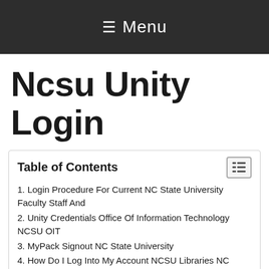≡ Menu
Ncsu Unity Login
Table of Contents
1. Login Procedure For Current NC State University Faculty Staff And
2. Unity Credentials Office Of Information Technology NCSU OIT
3. MyPack Signout NC State University
4. How Do I Log Into My Account NCSU Libraries NC State University
5. EPACK Sign In
6. MyPack Portal North Carolina State